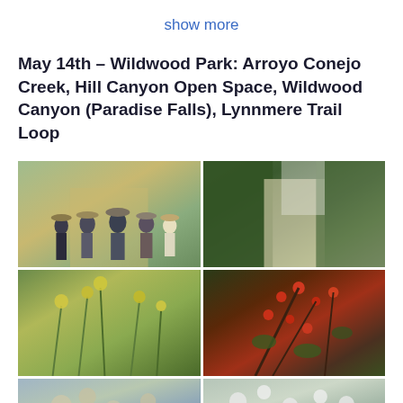show more
May 14th – Wildwood Park: Arroyo Conejo Creek, Hill Canyon Open Space, Wildwood Canyon (Paradise Falls), Lynnmere Trail Loop
[Figure (photo): Group of five hikers standing on a dirt trail surrounded by green vegetation]
[Figure (photo): A dirt trail flanked by dense green shrubs and ivy-covered hedges]
[Figure (photo): Close-up of yellow wildflowers with green stems and foliage]
[Figure (photo): Red flowering shrub with green leaves in a natural setting]
[Figure (photo): Partial view of wildflowers or plants, partially cropped at bottom]
[Figure (photo): Partial view of white flowering plants, partially cropped at bottom]